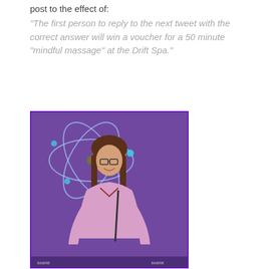post to the effect of:
“The first person to reply to the next tweet with the correct answer will win a voucher for a 50 minute “mindful massage” at the Drift Spa.”
[Figure (photo): A smiling woman with glasses and long brown hair, wearing a pink jacket and plaid shirt, posed in front of a purple background with a glowing atom/molecule graphic. She is playing the character Amy Farrah Fowler.]
This actress plays neurobiologist, Amy Farrah Fowler on CBS’ “The Big Bang Theory”.